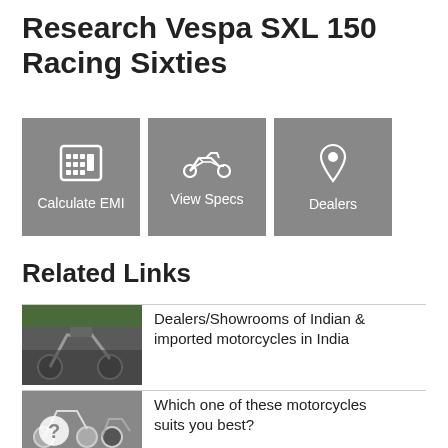Research Vespa SXL 150 Racing Sixties
[Figure (infographic): Three grey button tiles: Calculate EMI (calculator icon), View Specs (motorcycle icon), Dealers (location pin icon)]
Related Links
[Figure (photo): Photo of large cruiser motorcycles parked, with Harley-Davidson style bikes]
Dealers/Showrooms of Indian & imported motorcycles in India
[Figure (photo): Photo of motorcycles including a dirt bike and a cruiser, with a question mark overlay circle]
Which one of these motorcycles suits you best?